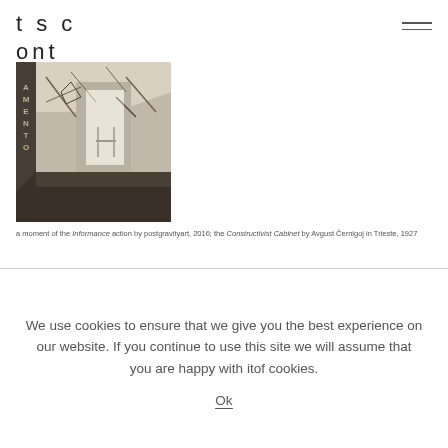tsc
ont
[Figure (photo): Black and white photograph of a constructivist interior space, showing walls with geometric markings and a dark floor]
a moment of the Informance action by postgravityart, 2016; the Constructivist Cabinet by Avgust Černigoj in Trieste, 1927
We use cookies to ensure that we give you the best experience on our website. If you continue to use this site we will assume that you are happy with itof cookies.
Ok